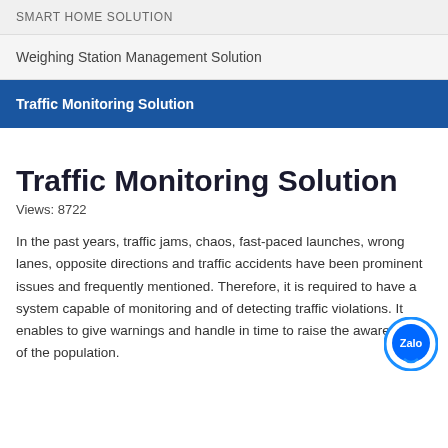SMART HOME SOLUTION
Weighing Station Management Solution
Traffic Monitoring Solution
Traffic Monitoring Solution
Views: 8722
In the past years, traffic jams, chaos, fast-paced launches, wrong lanes, opposite directions and traffic accidents have been prominent issues and frequently mentioned. Therefore, it is required to have a system capable of monitoring and of detecting traffic violations. It enables to give warnings and handle in time to raise the awareness of the population.